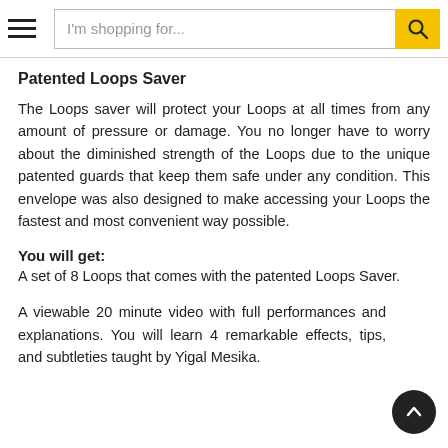I'm shopping for...
Patented Loops Saver
The Loops saver will protect your Loops at all times from any amount of pressure or damage. You no longer have to worry about the diminished strength of the Loops due to the unique patented guards that keep them safe under any condition. This envelope was also designed to make accessing your Loops the fastest and most convenient way possible.
You will get:
A set of 8 Loops that comes with the patented Loops Saver.
A viewable 20 minute video with full performances and explanations. You will learn 4 remarkable effects, tips, and subtleties taught by Yigal Mesika.